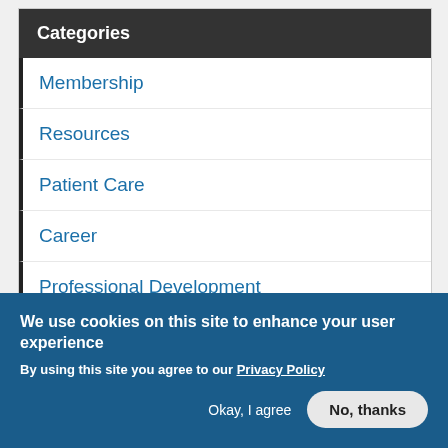Categories
Membership
Resources
Patient Care
Career
Professional Development
Events
Advocacy
Publications
We use cookies on this site to enhance your user experience
By using this site you agree to our Privacy Policy
Okay, I agree   No, thanks